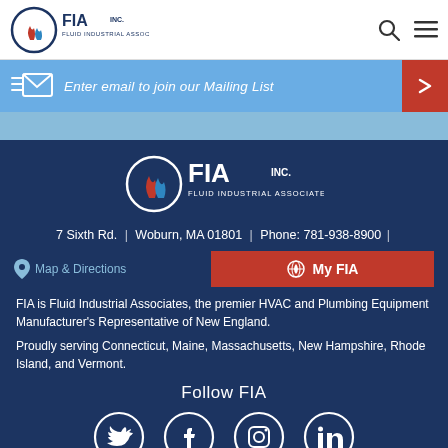[Figure (logo): FIA Inc. Fluid Industrial Associates Inc. logo in header, with flame/water droplet icon]
Enter email to join our Mailing List
[Figure (logo): FIA Inc. Fluid Industrial Associates Inc. white logo in dark blue footer]
7 Sixth Rd. | Woburn, MA 01801 | Phone: 781-938-8900 |
Map & Directions
My FIA
FIA is Fluid Industrial Associates, the premier HVAC and Plumbing Equipment Manufacturer's Representative of New England.
Proudly serving Connecticut, Maine, Massachusetts, New Hampshire, Rhode Island, and Vermont.
Follow FIA
[Figure (illustration): Four social media icons in circles: Twitter, Facebook, Instagram, LinkedIn]